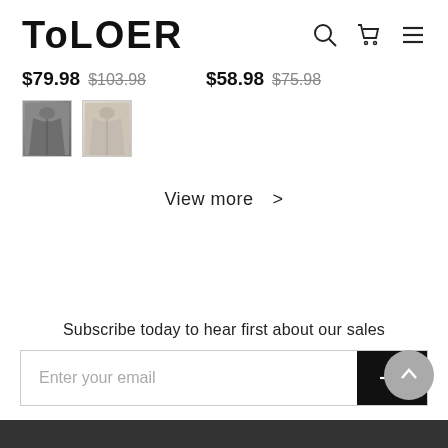TOLOER
$79.98  $103.98   $58.98  $75.98
[Figure (photo): Two small product swatches: a dark gray jacket thumbnail and a light beige jacket thumbnail]
View more >
Subscribe today to hear first about our sales
Enter your email